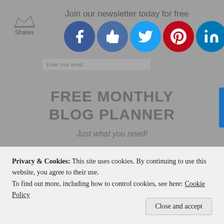Join our newsletter today for free
[Figure (screenshot): Social sharing icons row: Facebook, Like/thumbs-up, Twitter, Pinterest, LinkedIn, Reddit, Crown badge]
FREE MONTHLY
BLOG PLANNER
Just what you need!
[Figure (screenshot): Email input field with placeholder text 'Enter Your Email']
[Figure (screenshot): Button labeled '"I'll take it!"']
Privacy & Cookies: This site uses cookies. By continuing to use this website, you agree to their use.
To find out more, including how to control cookies, see here: Cookie Policy
Close and accept